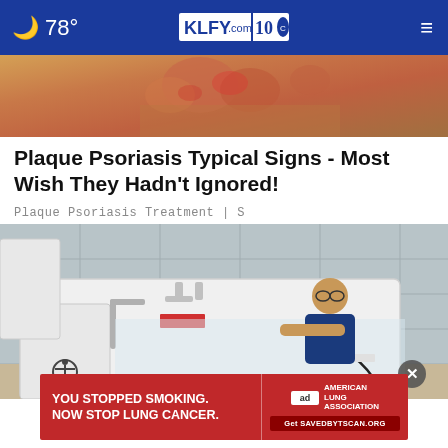🌙 78° | KLFY.com 10 | ≡
[Figure (photo): Close-up photo of a person's toes/foot showing reddened skin, likely illustrating plaque psoriasis symptoms]
Plaque Psoriasis Typical Signs - Most Wish They Hadn't Ignored!
Plaque Psoriasis Treatment | S
[Figure (photo): Man with glasses wearing a navy blue shirt sitting inside a walk-in bathtub with accessibility features including a wheelchair symbol, faucets, and grab bars, in a bathroom showroom setting]
[Figure (infographic): Ad banner: 'YOU STOPPED SMOKING. NOW STOP LUNG CANCER.' with American Lung Association logo and CTA 'Get SAVEDBYTSCAN.ORG']